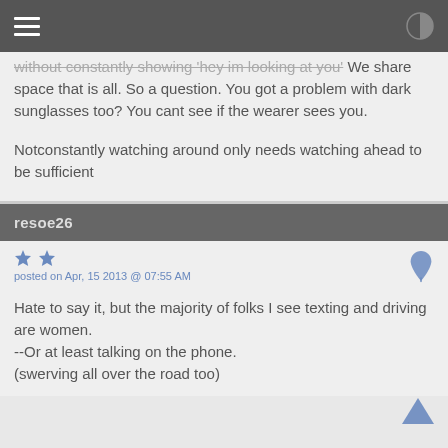without constantly showing 'hey im looking at you' We share space that is all. So a question. You got a problem with dark sunglasses too? You cant see if the wearer sees you.

Notconstantly watching around only needs watching ahead to be sufficient
resoe26
posted on Apr, 15 2013 @ 07:55 AM
Hate to say it, but the majority of folks I see texting and driving are women.
--Or at least talking on the phone.
(swerving all over the road too)